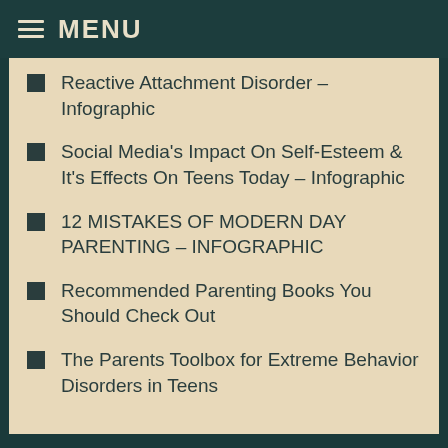MENU
Reactive Attachment Disorder – Infographic
Social Media's Impact On Self-Esteem & It's Effects On Teens Today – Infographic
12 MISTAKES OF MODERN DAY PARENTING – INFOGRAPHIC
Recommended Parenting Books You Should Check Out
The Parents Toolbox for Extreme Behavior Disorders in Teens